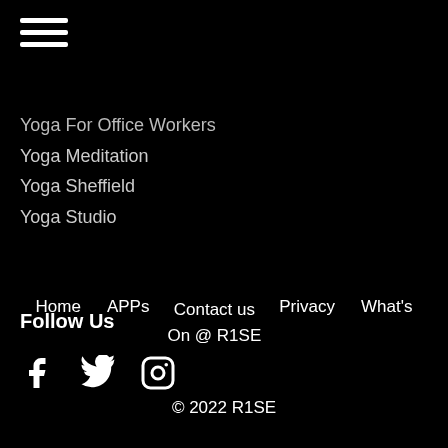[Figure (illustration): Hamburger menu icon — three horizontal white bars]
Yoga For Office Workers
Yoga Meditation
Yoga Sheffield
Yoga Studio
Follow Us
[Figure (illustration): Social media icons: Facebook, Twitter, Instagram]
Home   APPs   Contact us   Privacy   What's On @ R1SE
© 2022 R1SE